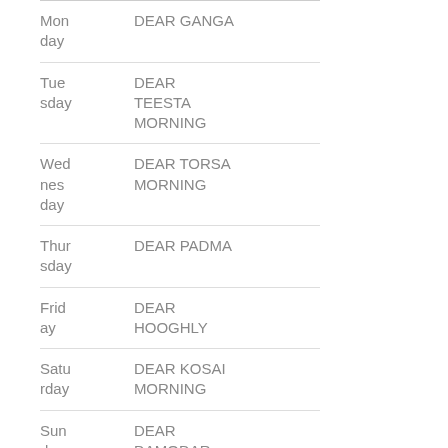| Day | Draw Name |
| --- | --- |
| Monday | DEAR GANGA |
| Tuesday | DEAR TEESTA MORNING |
| Wednesday | DEAR TORSA MORNING |
| Thursday | DEAR PADMA |
| Friday | DEAR HOOGHLY |
| Saturday | DEAR KOSAI MORNING |
| Sunday | DEAR DAMODAR |